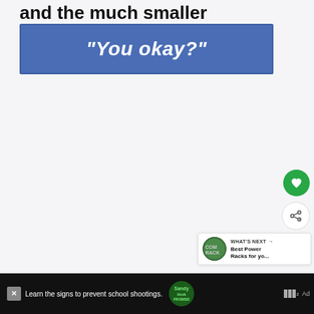and the much smaller fractionals?
[Figure (other): Blue rectangular button/box with white italic bold text reading “You okay?”]
[Figure (other): Green circle button with white heart icon (like/favorite button)]
[Figure (other): White circle button with share icon]
[Figure (other): WHAT'S NEXT panel with thumbnail and text 'Best Power Racks for yo...']
[Figure (other): Advertisement bar at bottom: 'Learn the signs to prevent school shootings.' with Sandy Hook Promise logo]